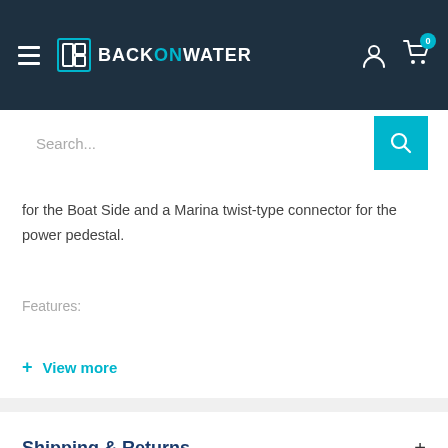BackOnWater navigation header with hamburger menu, logo, user icon, and cart (0)
Search...
for the Boat Side and a Marina twist-type connector for the power pedestal.
Features:
+ View more
Shipping & Returns